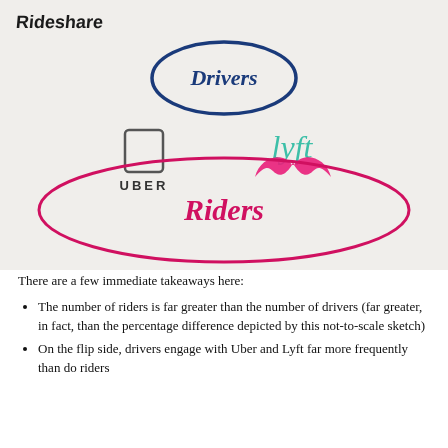[Figure (infographic): Hand-drawn style diagram showing rideshare market. At top left, 'Rideshare' written in marker. A blue oval labeled 'Drivers' sits at top center. Below are the Uber logo (square bracket icon + text 'UBER') and Lyft logo (cursive 'lyft' in teal with pink mustache). A large red/pink oval labeled 'Riders' in red handwritten font encompasses the lower portion, indicating riders outnumber drivers.]
There are a few immediate takeaways here:
The number of riders is far greater than the number of drivers (far greater, in fact, than the percentage difference depicted by this not-to-scale sketch)
On the flip side, drivers engage with Uber and Lyft far more frequently than do riders